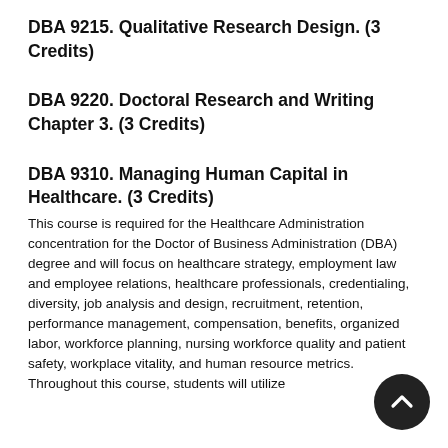DBA 9215. Qualitative Research Design. (3 Credits)
DBA 9220. Doctoral Research and Writing Chapter 3. (3 Credits)
DBA 9310. Managing Human Capital in Healthcare. (3 Credits)
This course is required for the Healthcare Administration concentration for the Doctor of Business Administration (DBA) degree and will focus on healthcare strategy, employment law and employee relations, healthcare professionals, credentialing, diversity, job analysis and design, recruitment, retention, performance management, compensation, benefits, organized labor, workforce planning, nursing workforce quality and patient safety, workplace vitality, and human resource metrics. Throughout this course, students will utilize